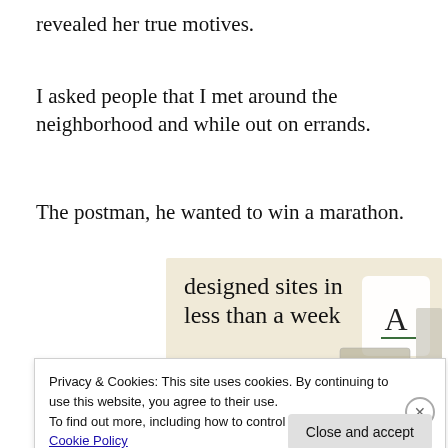revealed her true motives.
I asked people that I met around the neighborhood and while out on errands.
The postman, he wanted to win a marathon.
[Figure (illustration): Advertisement banner for a web design service showing text 'designed sites in less than a week' with a green 'Explore options' button and mockup screenshots on a beige background.]
Privacy & Cookies: This site uses cookies. By continuing to use this website, you agree to their use.
To find out more, including how to control cookies, see here: Cookie Policy